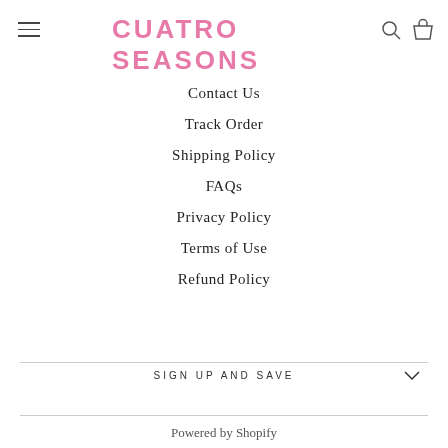CUATRO SEASONS
Contact Us
Track Order
Shipping Policy
FAQs
Privacy Policy
Terms of Use
Refund Policy
SIGN UP AND SAVE
Powered by Shopify